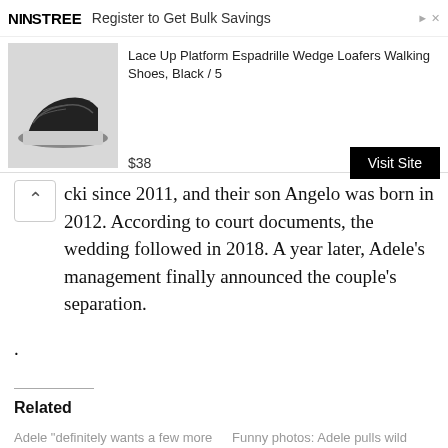[Figure (screenshot): Advertisement banner for NINSTREE shoes - 'Lace Up Platform Espadrille Wedge Loafers Walking Shoes, Black / 5' priced at $38 with a 'Visit Site' button]
cki since 2011, and their son Angelo was born in 2012. According to court documents, the wedding followed in 2018. A year later, Adele’s management finally announced the couple’s separation.
.
Related
Adele “definitely wants a few more kids”
On British radio, Adele talks about wanting to have more children. If it doesn’t work out, she still has son Angelo. Adele speaks again about
Funny photos: Adele pulls wild faces on vacation in Italy
She looks totally relaxed and liberated! Singer Adele (34) celebrated her big music and stage comeback last